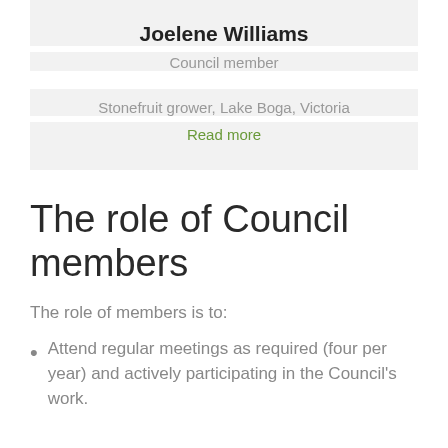Joelene Williams
Council member
Stonefruit grower, Lake Boga, Victoria
Read more
The role of Council members
The role of members is to:
Attend regular meetings as required (four per year) and actively participating in the Council's work.